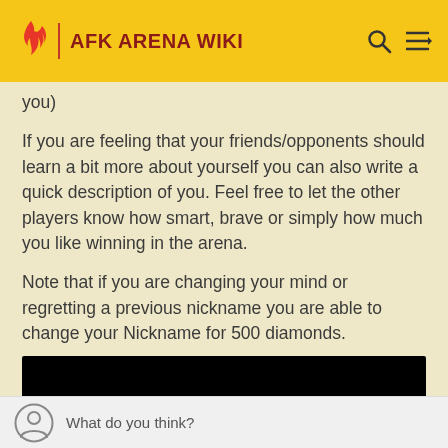AFK ARENA WIKI
you)
If you are feeling that your friends/opponents should learn a bit more about yourself you can also write a quick description of you. Feel free to let the other players know how smart, brave or simply how much you like winning in the arena.
Note that if you are changing your mind or regretting a previous nickname you are able to change your Nickname for 500 diamonds.
[Figure (other): Black redacted image bar]
What do you think?